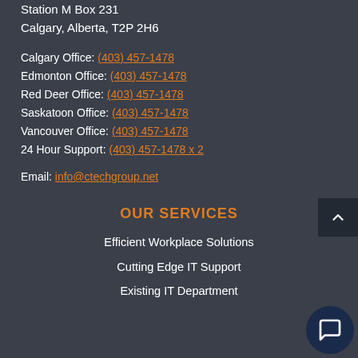Station M Box 231
Calgary, Alberta, T2P 2H6
Calgary Office: (403) 457-1478
Edmonton Office: (403) 457-1478
Red Deer Office: (403) 457-1478
Saskatoon Office: (403) 457-1478
Vancouver Office: (403) 457-1478
24 Hour Support: (403) 457-1478 x 2
Email: info@ctechgroup.net
OUR SERVICES
Efficient Workplace Solutions
Cutting Edge IT Support
Existing IT Department